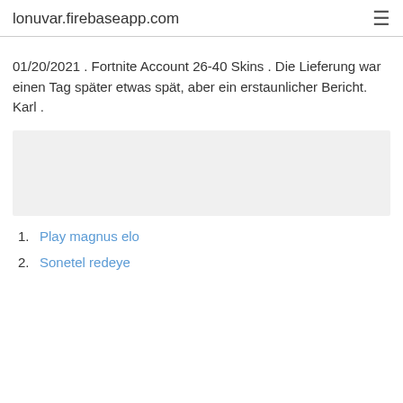lonuvar.firebaseapp.com
01/20/2021 . Fortnite Account 26-40 Skins . Die Lieferung war einen Tag später etwas spät, aber ein erstaunlicher Bericht. Karl .
[Figure (other): Light grey advertisement placeholder box]
Play magnus elo
Sonetel redeye